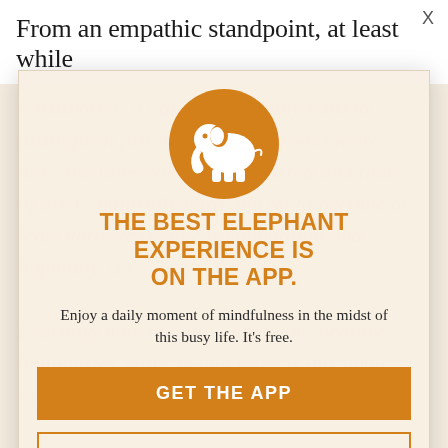From an empathic standpoint, at least while
one is learning about their own inherent sensitivities, it can be incredibly hard to distinguish just how much and who we're not—the lines continually blurred and that of are to naturally hard and let to become at least until we're able to foundation and hopefully, a s... Learning how to build and create healthy boundaries protects and reflects our good source, we're majorities that a routinely
[Figure (logo): Orange circular icon with a white elephant silhouette]
THE BEST ELEPHANT EXPERIENCE IS ON THE APP.
Enjoy a daily moment of mindfulness in the midst of this busy life. It's free.
GET THE APP
OPEN IN APP